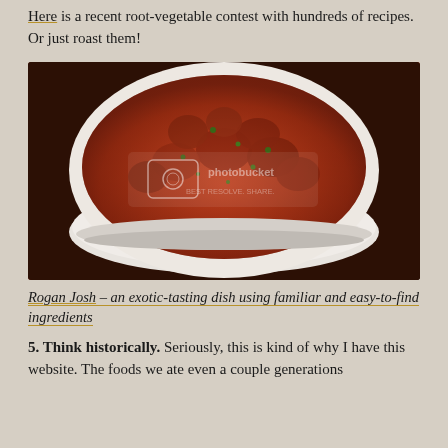Here is a recent root-vegetable contest with hundreds of recipes. Or just roast them!
[Figure (photo): A white oval bowl filled with Rogan Josh – a rich, dark red Indian curry dish with chunks of meat in thick sauce, garnished with fresh green herbs, photographed on a dark wooden surface. Photobucket watermark visible.]
Rogan Josh – an exotic-tasting dish using familiar and easy-to-find ingredients
5. Think historically. Seriously, this is kind of why I have this website. The foods we ate even a couple generations